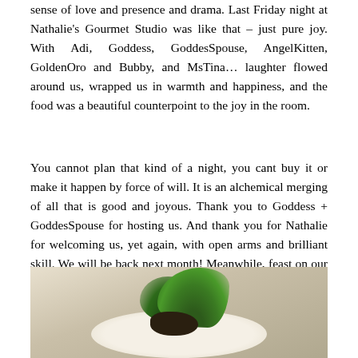sense of love and presence and drama. Last Friday night at Nathalie's Gourmet Studio was like that – just pure joy. With Adi, Goddess, GoddesSpouse, AngelKitten, GoldenOro and Bubby, and MsTina… laughter flowed around us, wrapped us in warmth and happiness, and the food was a beautiful counterpoint to the joy in the room.
You cannot plan that kind of a night, you cant buy it or make it happen by force of will. It is an alchemical merging of all that is good and joyous. Thank you to Goddess + GoddesSpouse for hosting us. And thank you for Nathalie for welcoming us, yet again, with open arms and brilliant skill. We will be back next month! Meanwhile, feast on our memories 🙂
[Figure (photo): A photo of a gourmet dish on a white plate, featuring dark food items (possibly braised meat or mushrooms) garnished with fresh green herbs and leafy greens arranged decoratively on top.]